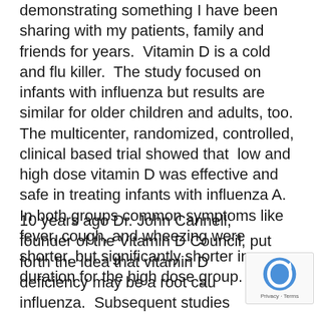demonstrating something I have been sharing with my patients, family and friends for years.  Vitamin D is a cold and flu killer.  The study focused on infants with influenza but results are similar for older children and adults, too. The multicenter, randomized, controlled, clinical based trial showed that  low and high dose vitamin D was effective and safe in treating infants with influenza A. In both groups common symptoms like fever, cough, and wheezing were shorter, but significantly shorter in duration for the high dose group.
10 years ago Dr. John Cannell, founder of the Vitamin D Council, put forth the idea that vitamin D deficiency may be a root cause of influenza.  Subsequent studies based on his hypothesis did show that individuals who...